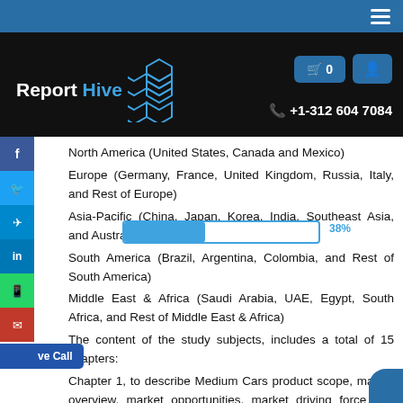Report Hive — +1-312 604 7084
North America (United States, Canada and Mexico)
Europe (Germany, France, United Kingdom, Russia, Italy, and Rest of Europe)
Asia-Pacific (China, Japan, Korea, India, Southeast Asia, and Australia)
South America (Brazil, Argentina, Colombia, and Rest of South America)
Middle East & Africa (Saudi Arabia, UAE, Egypt, South Africa, and Rest of Middle East & Africa)
The content of the study subjects, includes a total of 15 chapters:
Chapter 1, to describe Medium Cars product scope, market overview, market opportunities, market driving force and market risks.